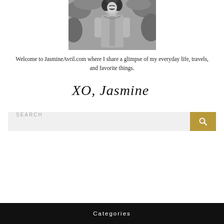[Figure (photo): Black and white photo of a smiling young woman with curly hair, wearing a sleeveless denim top, photographed outdoors]
Welcome to JasmineAvril.com where I share a glimpse of my everyday life, travels, and favorite things.
[Figure (illustration): Handwritten cursive signature reading 'XO, Jasmine']
SEARCH
Categories